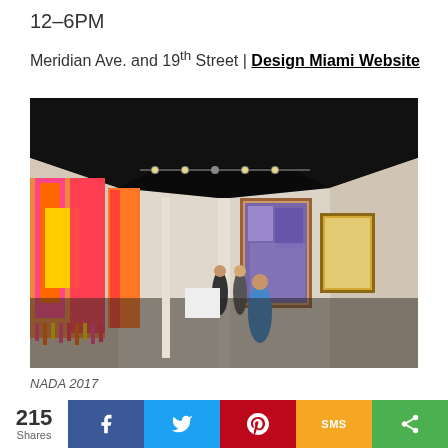12–6PM
Meridian Ave. and 19th Street | Design Miami Website
[Figure (photo): Interior of an art fair gallery with colorful textile artworks hanging on white walls on the left, framed paintings on the right, and visitors walking through a long corridor with dark ceiling and track lighting.]
NADA 2017
215 Shares — Share buttons: Facebook, Twitter, Pinterest, SMS, Share